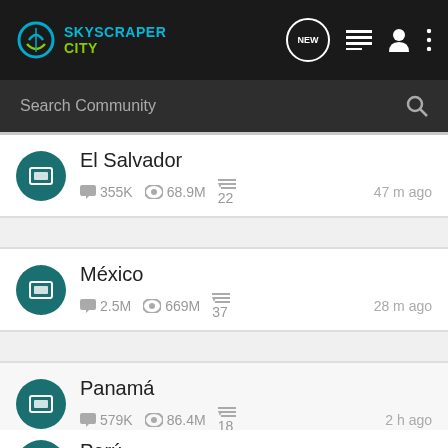SkyscraperCity
Search Community
El Salvador · 355K · 68.9M · 22 · 47 m ago
México · 2.5M · 669M · 37 · 28 m ago
Panamá · 579K · 86.4M · 18 · 2 h ago
Perú